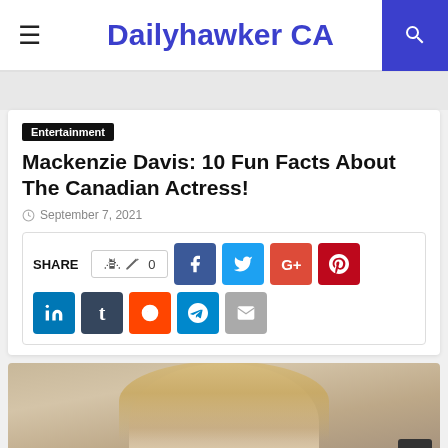Dailyhawker CA
Entertainment
Mackenzie Davis: 10 Fun Facts About The Canadian Actress!
September 7, 2021
[Figure (infographic): Social share buttons: like (0), Facebook, Twitter, Google+, Pinterest, LinkedIn, Tumblr, Reddit, Telegram, Email]
[Figure (photo): Photo of Mackenzie Davis, blonde actress, visible from shoulders up against a blurred background]